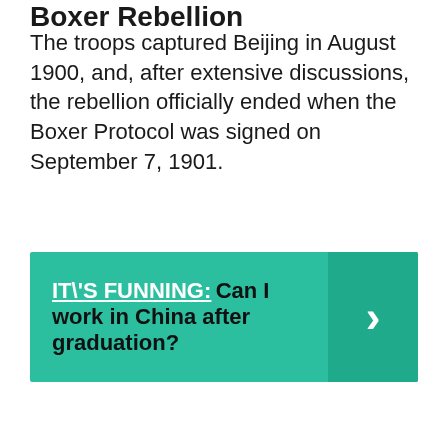Boxer Rebellion
The troops captured Beijing in August 1900, and, after extensive discussions, the rebellion officially ended when the Boxer Protocol was signed on September 7, 1901.
[Figure (infographic): Teal banner with link text 'IT\'S FUNNING:' followed by bold black text 'Can I work in China after graduation?' with a right-arrow chevron button on the right side in a darker teal.]